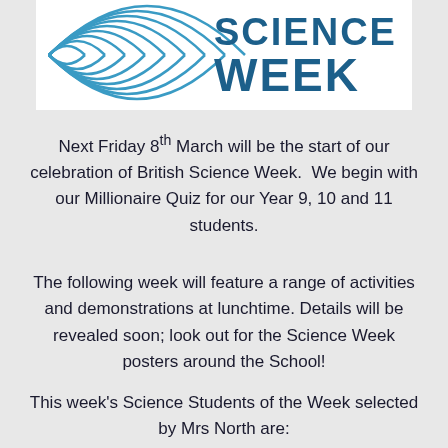[Figure (logo): British Science Week logo with concentric arc lines graphic on left and 'SCIENCE WEEK' text in blue on right, inside white box]
Next Friday 8th March will be the start of our celebration of British Science Week. We begin with our Millionaire Quiz for our Year 9, 10 and 11 students.
The following week will feature a range of activities and demonstrations at lunchtime. Details will be revealed soon; look out for the Science Week posters around the School!
This week's Science Students of the Week selected by Mrs North are: